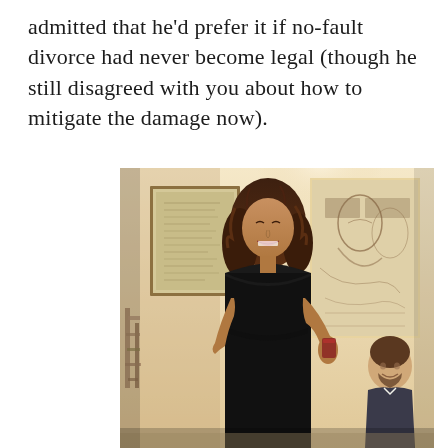admitted that he'd prefer it if no-fault divorce had never become legal (though he still disagreed with you about how to mitigate the damage now).
[Figure (photo): A woman with curly hair wearing a black dress standing and holding a dark drink, smiling with eyes closed, at what appears to be an indoor social gathering. In the background is a man in a suit sitting down, and artwork/sculptures on the walls.]